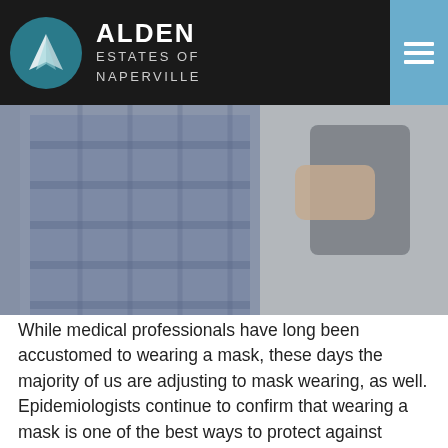ALDEN ESTATES OF NAPERVILLE
[Figure (photo): Two people, one wearing a plaid shirt and one in a light blue shirt holding a tablet device, photographed from the torso down outdoors.]
While medical professionals have long been accustomed to wearing a mask, these days the majority of us are adjusting to mask wearing, as well. Epidemiologists continue to confirm that wearing a mask is one of the best ways to protect against COVID-19. We now know that when we wear a mask, we not only protect others from exposure to the coronavirus, but we also reduce our own risk, perhaps by 65%. And other new studies suggest that even if we are exposed to the virus, a mask can reduce the amount of virus that gets into our body, allowing our immune system to put up a more effective fight.